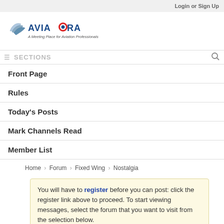Login or Sign Up
[Figure (logo): Aviafora logo with wing icon and tagline 'A Meeting Place for Aviation Professionals']
SECTIONS
Front Page
Rules
Today's Posts
Mark Channels Read
Member List
Home > Forum > Fixed Wing > Nostalgia
You will have to register before you can post: click the register link above to proceed. To start viewing messages, select the forum that you want to visit from the selection below.